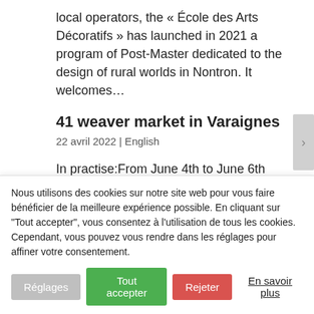local operators, the « École des Arts Décoratifs » has launched in 2021 a program of Post-Master dedicated to the design of rural worlds in Nontron. It welcomes…
41 weaver market in Varaignes
22 avril 2022 | English
In practise:From June 4th to June 6th
2022Saturday 2-6 pm – Sunday and Monday 10
Nous utilisons des cookies sur notre site web pour vous faire bénéficier de la meilleure expérience possible. En cliquant sur "Tout accepter", vous consentez à l'utilisation de tous les cookies. Cependant, vous pouvez vous rendre dans les réglages pour affiner votre consentement.
Réglages
Tout accepter
Rejeter
En savoir plus